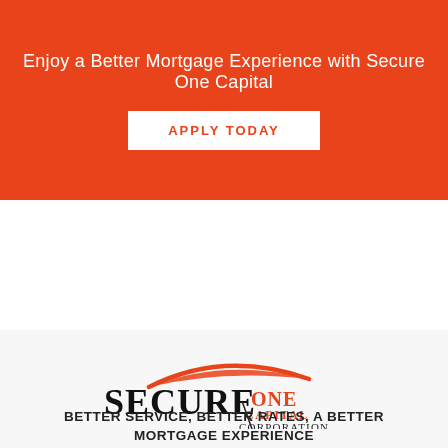Enjoy a Better Mortgage Experience with Secure One Capital
APPLY TODAY
[Figure (logo): Secure One Capital Corporation logo with red arc swoosh above large serif text SECURE and smaller text ONE CAPITAL CORPORATION]
BETTER SERVICE, BETTER RATES, A BETTER MORTGAGE EXPERIENCE